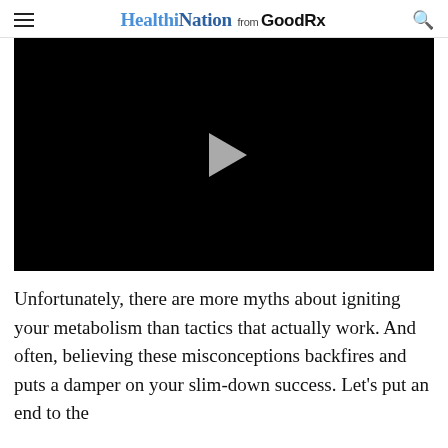HealthiNation from GoodRx
[Figure (screenshot): Black video player with a grey play button triangle in the center]
Unfortunately, there are more myths about igniting your metabolism than tactics that actually work. And often, believing these misconceptions backfires and puts a damper on your slim-down success. Let’s put an end to the